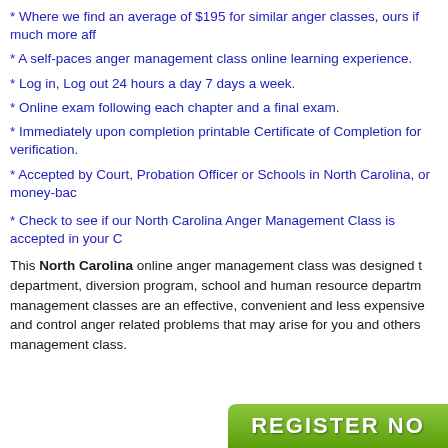* Where we find an average of $195 for similar anger classes, ours if much more aff
* A self-paces anger management class online learning experience.
* Log in, Log out 24 hours a day 7 days a week.
* Online exam following each chapter and a final exam.
* Immediately upon completion printable Certificate of Completion for verification.
* Accepted by Court, Probation Officer or Schools in North Carolina, or money-bac
* Check to see if our North Carolina Anger Management Class is accepted in your C
This North Carolina online anger management class was designed t department, diversion program, school and human resource departm management classes are an effective, convenient and less expensive and control anger related problems that may arise for you and others management class.
[Figure (other): Green REGISTER NOW button at the bottom right corner]